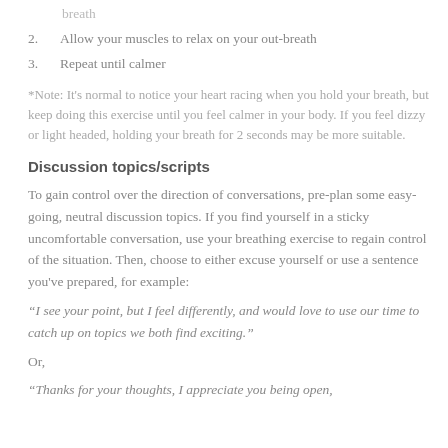breath
2.   Allow your muscles to relax on your out-breath
3.   Repeat until calmer
*Note: It's normal to notice your heart racing when you hold your breath, but keep doing this exercise until you feel calmer in your body. If you feel dizzy or light headed, holding your breath for 2 seconds may be more suitable.
Discussion topics/scripts
To gain control over the direction of conversations, pre-plan some easy-going, neutral discussion topics. If you find yourself in a sticky uncomfortable conversation, use your breathing exercise to regain control of the situation. Then, choose to either excuse yourself or use a sentence you've prepared, for example:
“I see your point, but I feel differently, and would love to use our time to catch up on topics we both find exciting.”
Or,
“Thanks for your thoughts, I appreciate you being open,